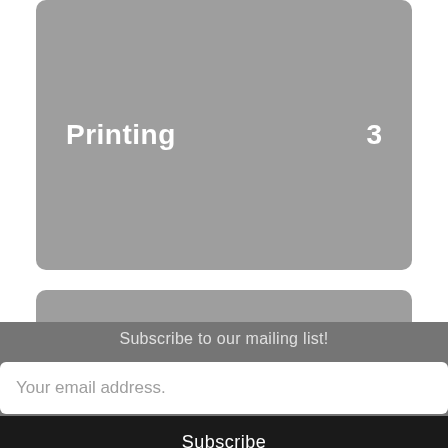[Figure (screenshot): A grey rounded rectangle card showing the label 'Printing' on the left and the number '3' on the right, both in white bold text.]
[Figure (screenshot): A grey rounded rectangle card (partially visible) with a darker grey dropdown arrow button overlapping at the right edge.]
Subscribe to our mailing list!
Your email address.
Subscribe